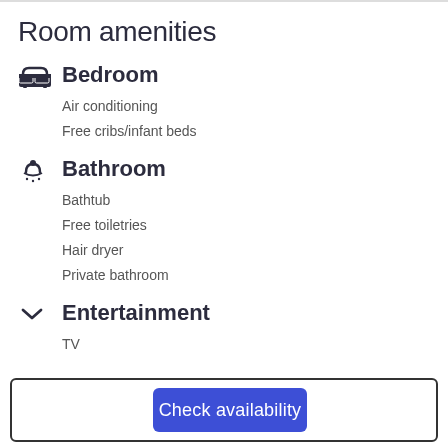Room amenities
Bedroom
Air conditioning
Free cribs/infant beds
Bathroom
Bathtub
Free toiletries
Hair dryer
Private bathroom
Entertainment
TV
Check availability